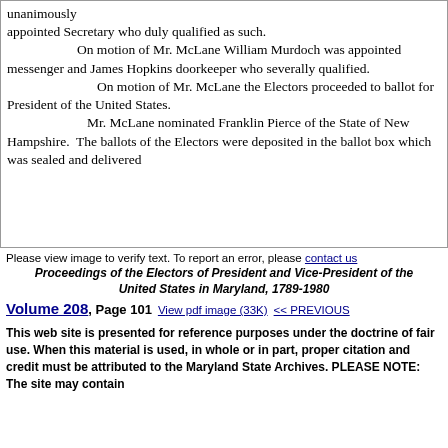unanimously appointed Secretary who duly qualified as such. On motion of Mr. McLane William Murdoch was appointed messenger and James Hopkins doorkeeper who severally qualified. On motion of Mr. McLane the Electors proceeded to ballot for President of the United States. Mr. McLane nominated Franklin Pierce of the State of New Hampshire. The ballots of the Electors were deposited in the ballot box which was sealed and delivered
Please view image to verify text. To report an error, please contact us
Proceedings of the Electors of President and Vice-President of the United States in Maryland, 1789-1980
Volume 208, Page 101   View pdf image (33K)   << PREVIOUS
This web site is presented for reference purposes under the doctrine of fair use. When this material is used, in whole or in part, proper citation and credit must be attributed to the Maryland State Archives. PLEASE NOTE: The site may contain